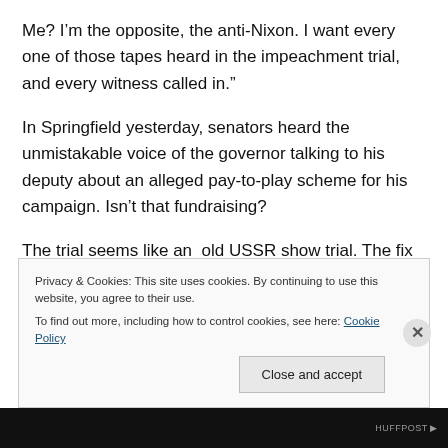Me? I’m the opposite, the anti-Nixon. I want every one of those tapes heard in the impeachment trial, and every witness called in.”
In Springfield yesterday, senators heard the unmistakable voice of the governor talking to his deputy about an alleged pay-to-play scheme for his campaign. Isn’t that fundraising?
The trial seems like an old USSR show trial. The fix is in if the governor can’t let his accusers hear the entire
Privacy & Cookies: This site uses cookies. By continuing to use this website, you agree to their use.
To find out more, including how to control cookies, see here: Cookie Policy